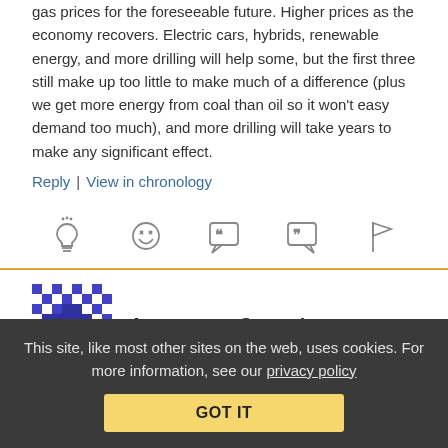gas prices for the foreseeable future. Higher prices as the economy recovers. Electric cars, hybrids, renewable energy, and more drilling will help some, but the first three still make up too little to make much of a difference (plus we get more energy from coal than oil so it won't easy demand too much), and more drilling will take years to make any significant effect.
Reply | View in chronology
[Figure (infographic): Row of 5 comment action icons: lightbulb, laughing emoji, open-quote speech bubble, close-quote speech bubble, flag]
Anonymous Coward
November 17, 2011 at 11:24 am
This site, like most other sites on the web, uses cookies. For more information, see our privacy policy GOT IT